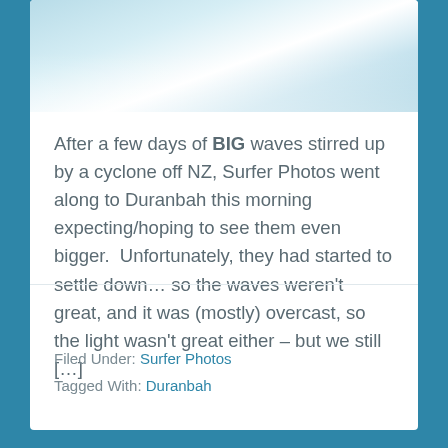[Figure (photo): Aerial or close-up photo of large ocean waves with white water and spray, light blue and white tones]
After a few days of BIG waves stirred up by a cyclone off NZ, Surfer Photos went along to Duranbah this morning expecting/hoping to see them even bigger.  Unfortunately, they had started to settle down… so the waves weren't great, and it was (mostly) overcast, so the light wasn't great either – but we still […]
Filed Under: Surfer Photos
Tagged With: Duranbah